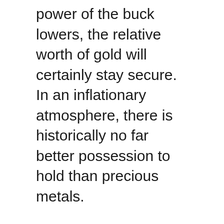power of the buck lowers, the relative worth of gold will certainly stay secure. In an inflationary atmosphere, there is historically no far better possession to hold than precious metals.
We are currently staying in unmatched times, with political and economic instability penetrating our establishments. Our research study has wrapped up there is no far better company around that offers the stability of silver and gold properties than Goldco.
What Makes Gold Prized Possession?
Gold has actually been utilized as a shop of value for centuries. Over the centuries it has